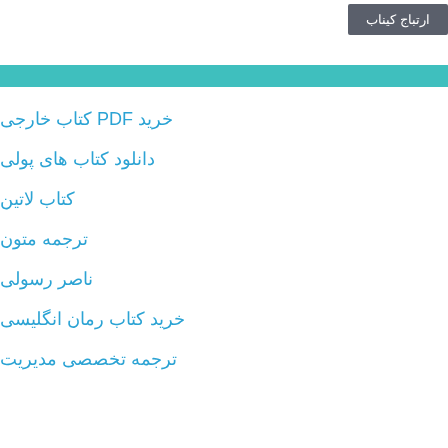خرید PDF کتاب خارجی
دانلود کتاب های پولی
کتاب لاتین
ترجمه متون
ناصر رسولی
خرید کتاب رمان انگلیسی
ترجمه تخصصی مدیریت